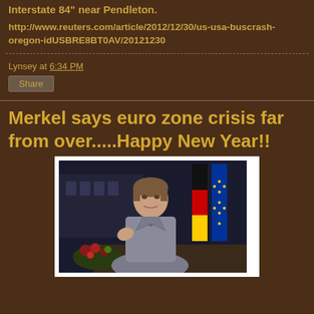Interstate 84" near Pendleton.
http://www.reuters.com/article/2012/12/30/us-usa-buscrash-oregon-idUSBRE8BT0AV20121230
Lynsey at 6:34 PM
Share
Merkel says euro zone crisis far from over.....Happy New Year!!
[Figure (photo): Angela Merkel sitting at a desk gesturing with her hand, wearing a grey blazer, with German and EU flags behind her and flowers in foreground]